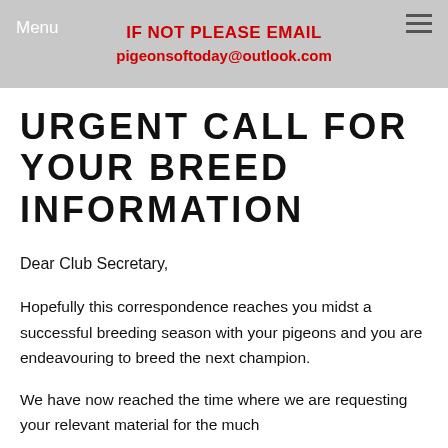Menu  IF NOT PLEASE EMAIL pigeonsoftoday@outlook.com
URGENT CALL FOR YOUR BREED INFORMATION
Dear Club Secretary,
Hopefully this correspondence reaches you midst a successful breeding season with your pigeons and you are endeavouring to breed the next champion.
We have now reached the time where we are requesting your relevant material for the much